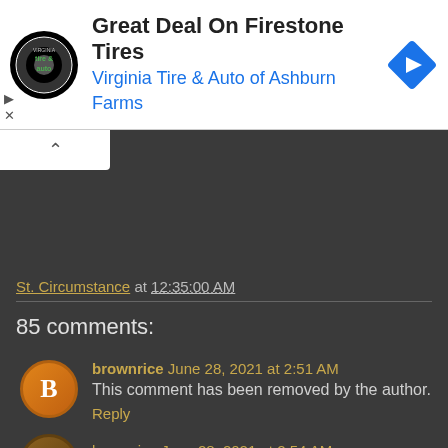[Figure (screenshot): Advertisement banner for Virginia Tire & Auto of Ashburn Farms showing Firestone Tires deal with logo and navigation icon]
St. Circumstance at 12:35:00 AM
85 comments:
brownrice June 28, 2021 at 2:51 AM
This comment has been removed by the author.
Reply
brownrice June 28, 2021 at 2:54 AM